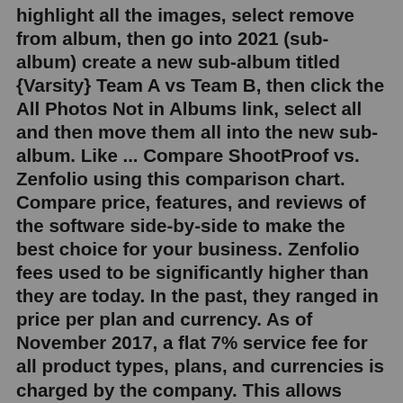highlight all the images, select remove from album, then go into 2021 (sub-album) create a new sub-album titled {Varsity} Team A vs Team B, then click the All Photos Not in Albums link, select all and then move them all into the new sub-album. Like ... Compare ShootProof vs. Zenfolio using this comparison chart. Compare price, features, and reviews of the software side-by-side to make the best choice for your business. Zenfolio fees used to be significantly higher than they are today. In the past, they ranged in price per plan and currency. As of November 2017, a flat 7% service fee for all product types, plans, and currencies is charged by the company. This allows members to account for Zenfolio's fees when calculating their own prices for photographs.Beautiful client photo gallery designed for professional photographers to host, share, deliver, proof and sell online. Start for free, upgrade when you need to! Difference 1: Okay, so pricing is almost the exact same for each plan tier, except for the Unlimited Plan which ShootProof charges $10/month